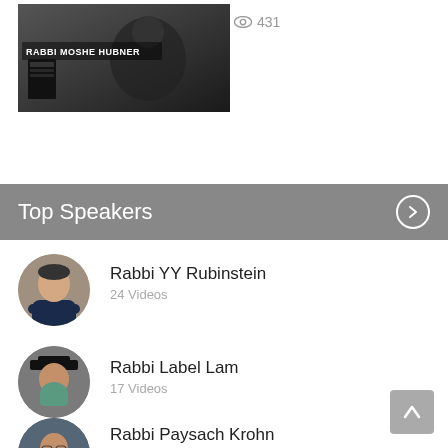[Figure (screenshot): Video thumbnail showing Rabbi Moshe Hubner with text overlay 'RABBI MOSHE HUBNER']
431
Top Speakers
[Figure (photo): Circular avatar photo of Rabbi YY Rubinstein]
Rabbi YY Rubinstein
24 Videos
[Figure (photo): Circular avatar photo of Rabbi Label Lam]
Rabbi Label Lam
17 Videos
[Figure (photo): Circular avatar photo of Rabbi Paysach Krohn]
Rabbi Paysach Krohn
15 Videos